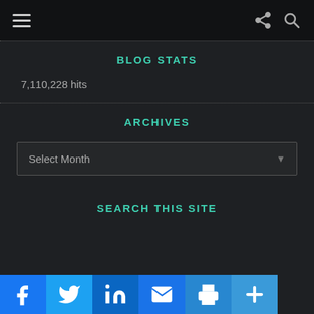Navigation bar with hamburger menu, share, and search icons
BLOG STATS
7,110,228 hits
ARCHIVES
Select Month
SEARCH THIS SITE
[Figure (other): Social share buttons: Facebook, Twitter, LinkedIn, Email, Print, More]